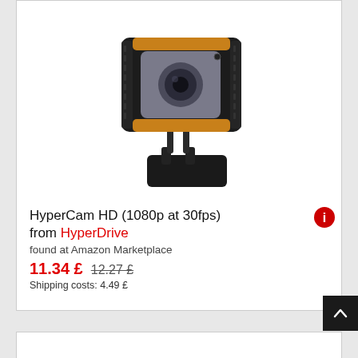[Figure (photo): A black and orange HyperCam HD webcam with a clip-on base stand, viewed from a slight angle above.]
HyperCam HD (1080p at 30fps) from HyperDrive
found at Amazon Marketplace
11.34 £  12.27 £
Shipping costs: 4.49 £
- 18%